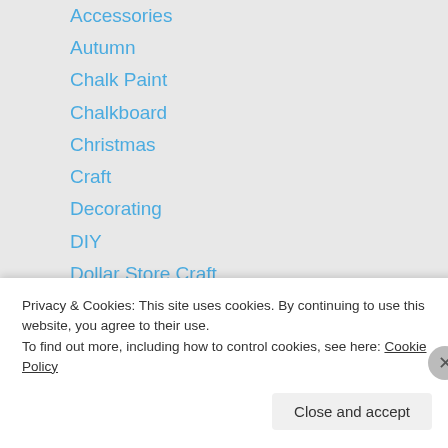Accessories
Autumn
Chalk Paint
Chalkboard
Christmas
Craft
Decorating
DIY
Dollar Store Craft
Flowers
Food
Free Fonts&Dingbats
Furniture Re-do
Gallery Glass
Privacy & Cookies: This site uses cookies. By continuing to use this website, you agree to their use.
To find out more, including how to control cookies, see here: Cookie Policy
Close and accept